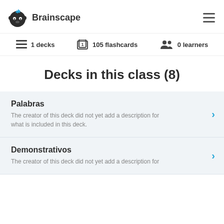[Figure (logo): Brainscape logo with brain icon and text 'Brainscape']
1 decks   105 flashcards   0 learners
Decks in this class (8)
Palabras
The creator of this deck did not yet add a description for what is included in this deck.
Demonstrativos
The creator of this deck did not yet add a description for